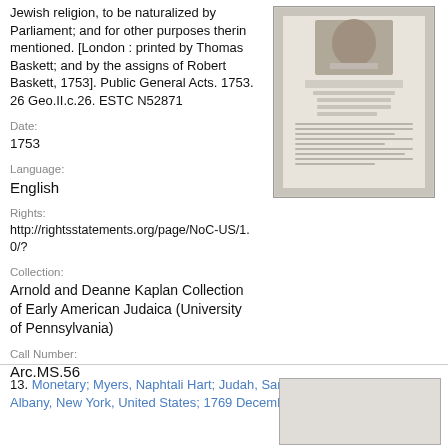Jewish religion, to be naturalized by Parliament; and for other purposes therin mentioned. [London : printed by Thomas Baskett; and by the assigns of Robert Baskett, 1753]. Public General Acts. 1753. 26 Geo.II.c.26. ESTC N52871
[Figure (photo): Thumbnail image of a historical document page with text, shown within a grey bordered box]
Date:
1753
Language:
English
Rights:
http://rightsstatements.org/page/NoC-US/1.0/?
Collection:
Arnold and Deanne Kaplan Collection of Early American Judaica (University of Pennsylvania)
Call Number:
Arc.MS.56
13. Monetary; Myers, Naphtali Hart; Judah, Samuel; Bradstreet, Mary; Albany, New York, United States; 1769 December 1